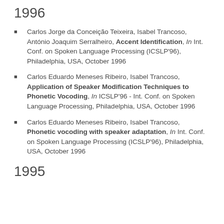1996
Carlos Jorge da Conceição Teixeira, Isabel Trancoso, António Joaquim Serralheiro, Accent Identification, In Int. Conf. on Spoken Language Processing (ICSLP'96), Philadelphia, USA, October 1996
Carlos Eduardo Meneses Ribeiro, Isabel Trancoso, Application of Speaker Modification Techniques to Phonetic Vocoding, In ICSLP'96 - Int. Conf. on Spoken Language Processing, Philadelphia, USA, October 1996
Carlos Eduardo Meneses Ribeiro, Isabel Trancoso, Phonetic vocoding with speaker adaptation, In Int. Conf. on Spoken Language Processing (ICSLP'96), Philadelphia, USA, October 1996
1995